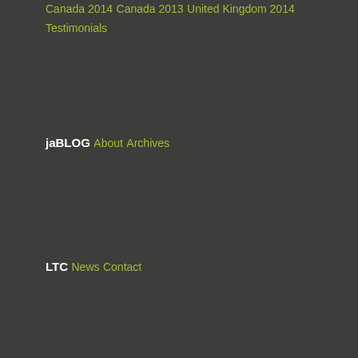Canada 2014
Canada 2013
United Kingdom 2014
Testimonials
jaBLOG
About
Archives
LTC
News
Contact